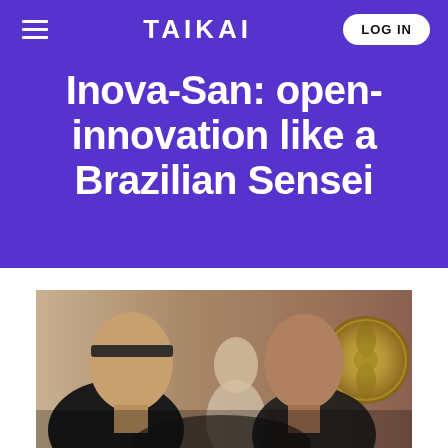TAIKAI
Inova-San: open-innovation like a Brazilian Sensei
[Figure (photo): Two men facing each other closely, appearing to be in a martial arts or confrontational pose, with a third person visible in the background and a decorative circular emblem on the wall behind them.]